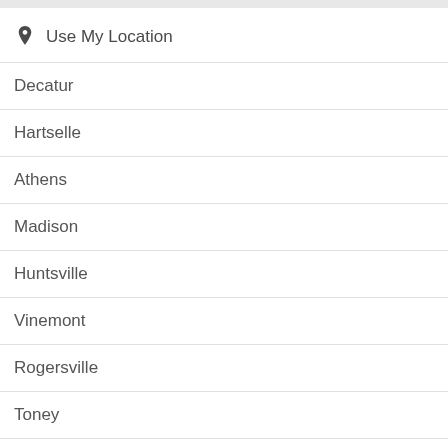Use My Location
Decatur
Hartselle
Athens
Madison
Huntsville
Vinemont
Rogersville
Toney
Cullman
Ardmore
Meridianville